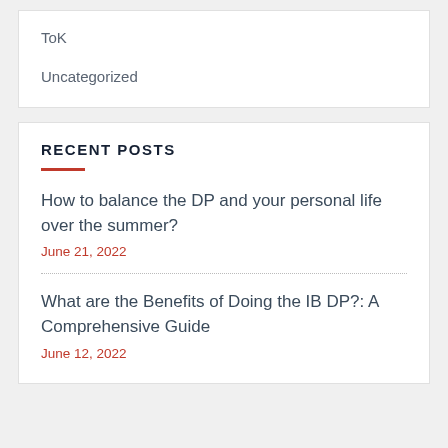ToK
Uncategorized
RECENT POSTS
How to balance the DP and your personal life over the summer?
June 21, 2022
What are the Benefits of Doing the IB DP?: A Comprehensive Guide
June 12, 2022